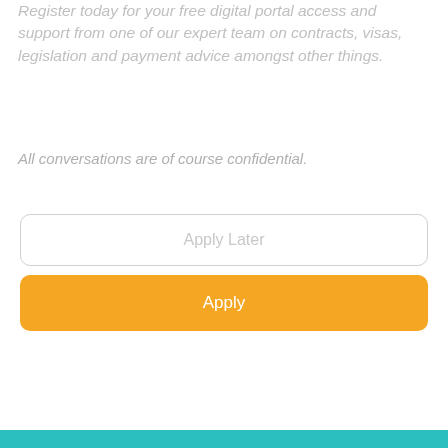Register today for your free digital portal access and support from one of our expert team on contracts, visas, legislation and payment advice amongst other things.
All conversations are of course confidential.
Apply Later
Apply